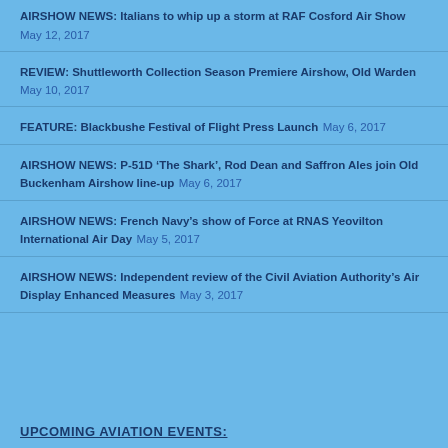AIRSHOW NEWS: Italians to whip up a storm at RAF Cosford Air Show May 12, 2017
REVIEW: Shuttleworth Collection Season Premiere Airshow, Old Warden May 10, 2017
FEATURE: Blackbushe Festival of Flight Press Launch May 6, 2017
AIRSHOW NEWS: P-51D ‘The Shark’, Rod Dean and Saffron Ales join Old Buckenham Airshow line-up May 6, 2017
AIRSHOW NEWS: French Navy’s show of Force at RNAS Yeovilton International Air Day May 5, 2017
AIRSHOW NEWS: Independent review of the Civil Aviation Authority’s Air Display Enhanced Measures May 3, 2017
UPCOMING AVIATION EVENTS: